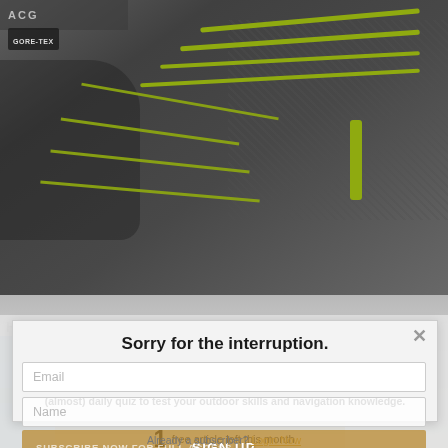[Figure (photo): Close-up of a gray and green hiking shoe/boot with green laces and GORE-TEX branding, shown from above at an angle.]
Sorry for the interruption.
We noticed you might not be getting the best of the NZ outdoors delivered to your inbox. Enter your details below to get more hikes, gear reviews, features and our (almost) daily quiz to test your outdoor skills and navigation knowledge.
How to buy... hiking shoes
Email
Name
1 free article left this month
SUBSCRIBE NOW FOR FULL ACCESS
SIGN UP
Already a subscriber? Login Now